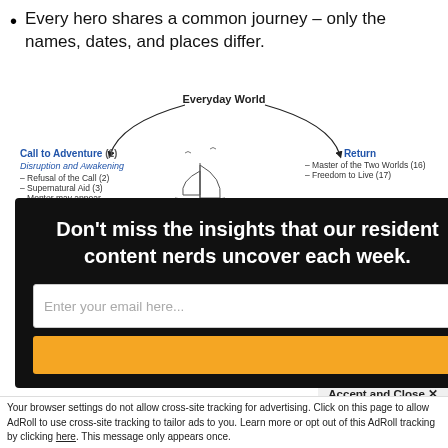Every hero shares a common journey – only the names, dates, and places differ.
[Figure (flowchart): Hero's Journey circular diagram showing stages: Everyday World at top, Call to Adventure (1) / Disruption and Awakening on left with sub-items Refusal of the Call (2), Supernatural Aid (3), Mentor may appear; First Threshold (4) lower left; Known World at bottom center with sailing ship illustration; Return Threshold (15) with Challenges to the return - Refusal of the Return (12), Magic Flight (13), Rescue from Without (14), Final Challenge; Apotheosis (10) / Final death and rebirth with Ultimate Boon (11), Consolidate experience, Build new meaning; Return upper right with Master of the Two Worlds (16), Freedom to Live (17); partial transformation section lower right.]
[Figure (screenshot): Modal popup overlay on dark background with text: Don't miss the insights that our resident content nerds uncover each week. Email input field and orange subscribe button. X close button in top right.]
Accept and Close ✕
Your browser settings do not allow cross-site tracking for advertising. Click on this page to allow AdRoll to use cross-site tracking to tailor ads to you. Learn more or opt out of this AdRoll tracking by clicking here. This message only appears once.